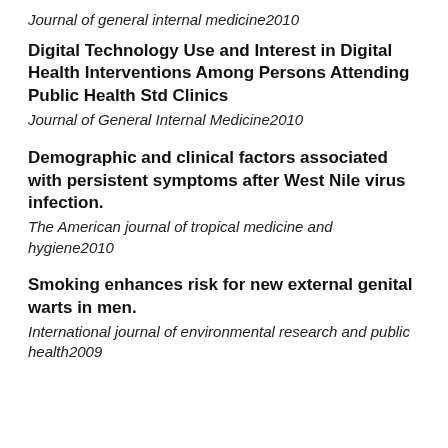Journal of general internal medicine2010
Digital Technology Use and Interest in Digital Health Interventions Among Persons Attending Public Health Std Clinics
Journal of General Internal Medicine2010
Demographic and clinical factors associated with persistent symptoms after West Nile virus infection.
The American journal of tropical medicine and hygiene2010
Smoking enhances risk for new external genital warts in men.
International journal of environmental research and public health2009